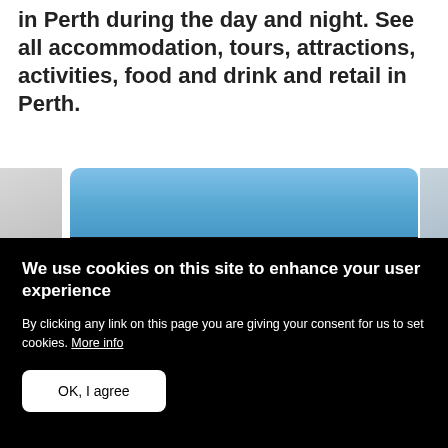in Perth during the day and night. See all accommodation, tours, attractions, activities, food and drink and retail in Perth.
[Figure (photo): A landscape photo showing palm trees and a dark vehicle silhouette against a blue sky, with slivers of adjacent carousel images on left and right.]
We use cookies on this site to enhance your user experience
By clicking any link on this page you are giving your consent for us to set cookies. More info
OK, I agree